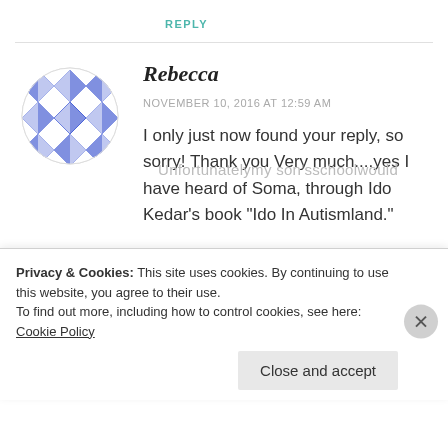REPLY
[Figure (illustration): Circular avatar with blue and white geometric/quilt pattern design]
Rebecca
NOVEMBER 10, 2016 AT 12:59 AM
I only just now found your reply, so sorry! Thank you Very much....yes I have heard of Soma, through Ido Kedar’s book “Ido In Autismland.”
Privacy & Cookies: This site uses cookies. By continuing to use this website, you agree to their use.
To find out more, including how to control cookies, see here: Cookie Policy
Close and accept